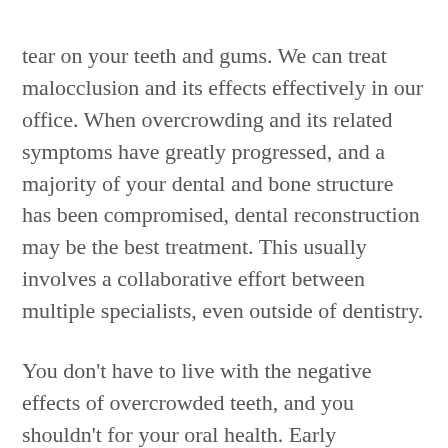tear on your teeth and gums. We can treat malocclusion and its effects effectively in our office. When overcrowding and its related symptoms have greatly progressed, and a majority of your dental and bone structure has been compromised, dental reconstruction may be the best treatment. This usually involves a collaborative effort between multiple specialists, even outside of dentistry.
You don't have to live with the negative effects of overcrowded teeth, and you shouldn't for your oral health. Early intervention can not only improve your smile quickly, but can save you lots of suffering and money in the long run. If you are concerned about your